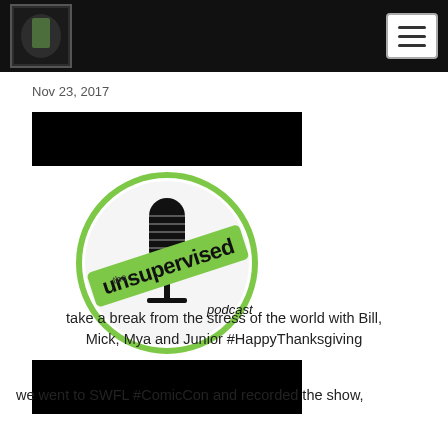The Unsupervised Podcast – navigation header
Nov 23, 2017
[Figure (logo): The Unsupervised Podcast logo: a circular emblem with a microphone silhouette and a green banner reading 'the unsupervised podcast', flanked by black bars above and below]
take a break from the stress of the world with Bill, Mick, Mya and Junior #HappyThanksgiving
we went to SWFL #ComicCon and recorded the show,